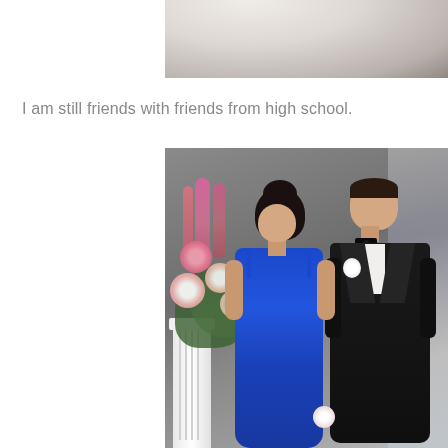[Figure (photo): Partial photo at top of page showing what appears to be white fabric/clothing and a dark background, cropped at top edge]
I am still friends with friends from high school.
[Figure (photo): Prom photo of a young couple. A young woman in a royal blue/sapphire sleeveless halter gown and a young man in a black tuxedo with bow tie and white boutonniere, standing in front of a grey draped backdrop with a large floral arrangement of pink flowers and daisies on a white pedestal column to their left.]